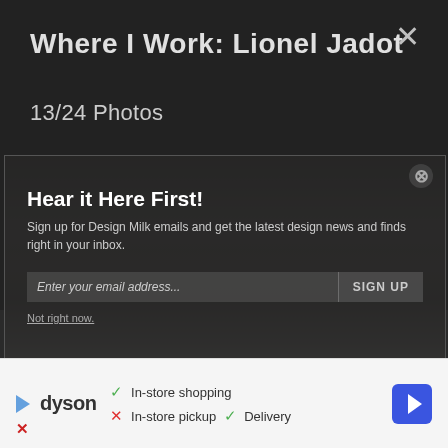Where I Work: Lionel Jadot
13/24 Photos
[Figure (photo): Interior workshop photo showing a model red airplane suspended from the ceiling, with vintage tools, a typewriter, clocks, and wooden shelves in background. A semi-transparent newsletter signup overlay partially obscures the photo.]
Hear it Here First!
Sign up for Design Milk emails and get the latest design news and finds right in your inbox.
Enter your email address...
SIGN UP
Not right now.
[Figure (infographic): Advertisement bar for Dyson showing logo, checkmark for In-store shopping, X for In-store pickup, checkmark for Delivery, and a blue diamond-shaped navigation arrow icon.]